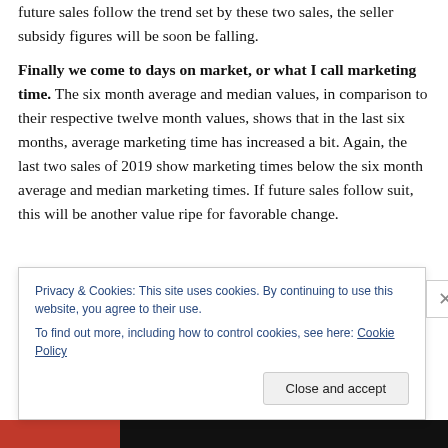future sales follow the trend set by these two sales, the seller subsidy figures will be soon be falling.
Finally we come to days on market, or what I call marketing time.  The six month average and median values, in comparison to their respective twelve month values, shows that in the last six months, average marketing time has increased a bit.  Again, the last two sales of 2019 show marketing times below the six month average and median marketing times.  If future sales follow suit, this will be another value ripe for favorable change.
Privacy & Cookies: This site uses cookies. By continuing to use this website, you agree to their use.
To find out more, including how to control cookies, see here: Cookie Policy